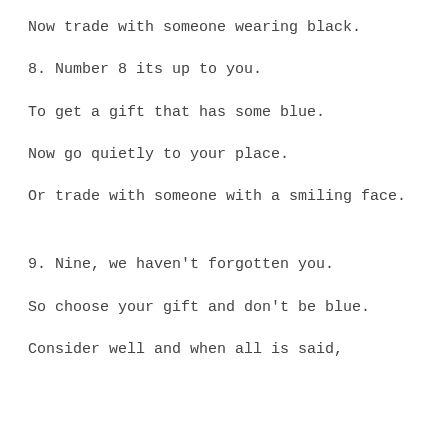Now trade with someone wearing black.
8. Number 8 its up to you.
To get a gift that has some blue.
Now go quietly to your place.
Or trade with someone with a smiling face.
9. Nine, we haven't forgotten you.
So choose your gift and don't be blue.
Consider well and when all is said,